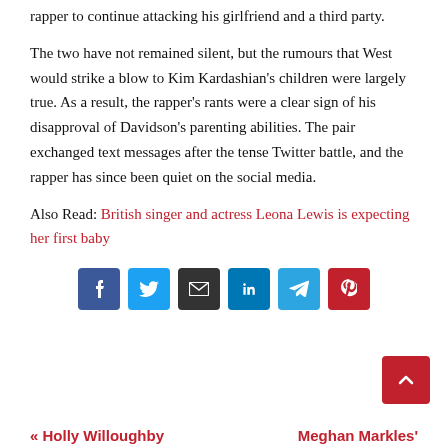rapper to continue attacking his girlfriend and a third party.
The two have not remained silent, but the rumours that West would strike a blow to Kim Kardashian's children were largely true. As a result, the rapper's rants were a clear sign of his disapproval of Davidson's parenting abilities. The pair exchanged text messages after the tense Twitter battle, and the rapper has since been quiet on the social media.
Also Read: British singer and actress Leona Lewis is expecting her first baby
[Figure (infographic): Social sharing buttons: Facebook (dark blue), Twitter (light blue), Email (dark/black), LinkedIn (blue), Telegram (light blue), Pinterest (red)]
[Figure (infographic): Red scroll-to-top button with upward arrow chevron]
« Holly Willoughby   Meghan Markles'